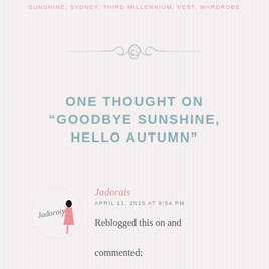SUNSHINE, SYDNEY, THIRD MILLENNIUM, VEST, WARDROBE
[Figure (illustration): Decorative swirl/scroll divider ornament in light gray]
ONE THOUGHT ON “GOODBYE SUNSHINE, HELLO AUTUMN”
[Figure (logo): Jadorais blog logo: cursive handwritten text with illustrated fashion figure in pink]
Jadorais
APRIL 11, 2015 AT 9:54 PM
Reblogged this on and commented: